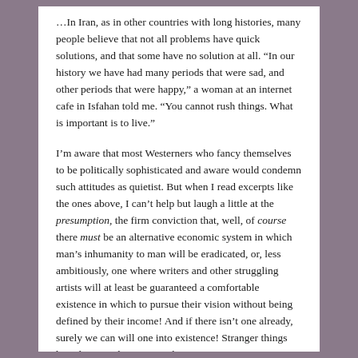...In Iran, as in other countries with long histories, many people believe that not all problems have quick solutions, and that some have no solution at all. “In our history we have had many periods that were sad, and other periods that were happy,” a woman at an internet cafe in Isfahan told me. “You cannot rush things. What is important is to live.”
I’m aware that most Westerners who fancy themselves to be politically sophisticated and aware would condemn such attitudes as quietist. But when I read excerpts like the ones above, I can’t help but laugh a little at the presumption, the firm conviction that, well, of course there must be an alternative economic system in which man’s inhumanity to man will be eradicated, or, less ambitiously, one where writers and other struggling artists will at least be guaranteed a comfortable existence in which to pursue their vision without being defined by their income! And if there isn’t one already, surely we can will one into existence! Stranger things have happened, I suppose, but I